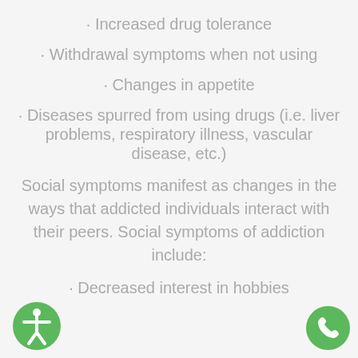· Increased drug tolerance
· Withdrawal symptoms when not using
· Changes in appetite
· Diseases spurred from using drugs (i.e. liver problems, respiratory illness, vascular disease, etc.)
Social symptoms manifest as changes in the ways that addicted individuals interact with their peers. Social symptoms of addiction include:
· Decreased interest in hobbies